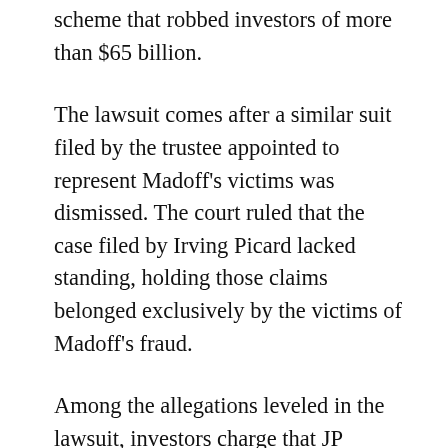scheme that robbed investors of more than $65 billion.
The lawsuit comes after a similar suit filed by the trustee appointed to represent Madoff's victims was dismissed. The court ruled that the case filed by Irving Picard lacked standing, holding those claims belonged exclusively by the victims of Madoff's fraud.
Among the allegations leveled in the lawsuit, investors charge that JP Morgan operated as Bernard L. Madoff Investment Securities LLC's (BLMIS) primary banker for more than 20 years, and were faced with many indications that the fund was nothing more than a Ponzi